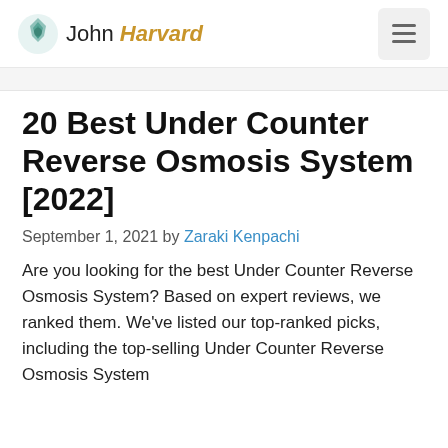John Harvard
20 Best Under Counter Reverse Osmosis System [2022]
September 1, 2021 by Zaraki Kenpachi
Are you looking for the best Under Counter Reverse Osmosis System? Based on expert reviews, we ranked them. We've listed our top-ranked picks, including the top-selling Under Counter Reverse Osmosis System